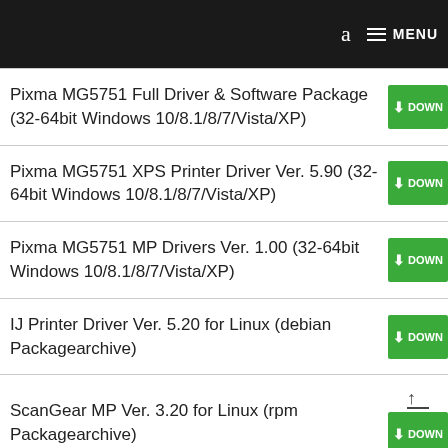a  MENU
Pixma MG5751 Full Driver & Software Package (32-64bit Windows 10/8.1/8/7/Vista/XP)
Pixma MG5751 XPS Printer Driver Ver. 5.90 (32-64bit Windows 10/8.1/8/7/Vista/XP)
Pixma MG5751 MP Drivers Ver. 1.00 (32-64bit Windows 10/8.1/8/7/Vista/XP)
IJ Printer Driver Ver. 5.20 for Linux (debian Packagearchive)
ScanGear MP Ver. 3.20 for Linux (rpm Packagearchive)